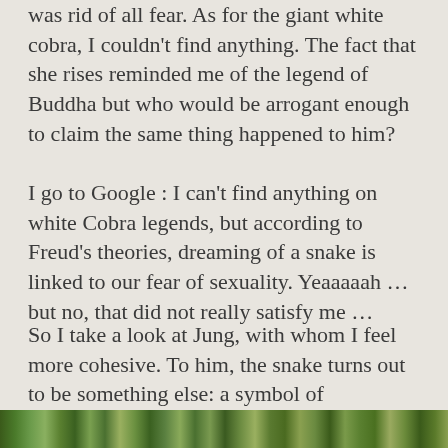was rid of all fear. As for the giant white cobra, I couldn't find anything. The fact that she rises reminded me of the legend of Buddha but who would be arrogant enough to claim the same thing happened to him?
I go to Google : I can't find anything on white Cobra legends, but according to Freud's theories, dreaming of a snake is linked to our fear of sexuality. Yeaaaaah ... but no, that did not really satisfy me ...
So I take a look at Jung, with whom I feel more cohesive. To him, the snake turns out to be something else: a symbol of regeneration, alchemy, individuation. The concept is sublime but vague, I remain unsatisfied.
[Figure (photo): A strip of outdoor/nature photo at the bottom of the page showing green foliage or vegetation.]